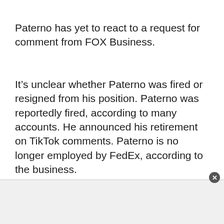Paterno has yet to react to a request for comment from FOX Business.
It’s unclear whether Paterno was fired or resigned from his position. Paterno was reportedly fired, according to many accounts. He announced his retirement on TikTok comments. Paterno is no longer employed by FedEx, according to the business.